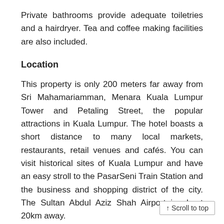Private bathrooms provide adequate toiletries and a hairdryer. Tea and coffee making facilities are also included.
Location
This property is only 200 meters far away from Sri Mahamariamman, Menara Kuala Lumpur Tower and Petaling Street, the popular attractions in Kuala Lumpur. The hotel boasts a short distance to many local markets, restaurants, retail venues and cafés. You can visit historical sites of Kuala Lumpur and have an easy stroll to the PasarSeni Train Station and the business and shopping district of the city. The Sultan Abdul Aziz Shah Airport is about 20km away.
↑ Scroll to top